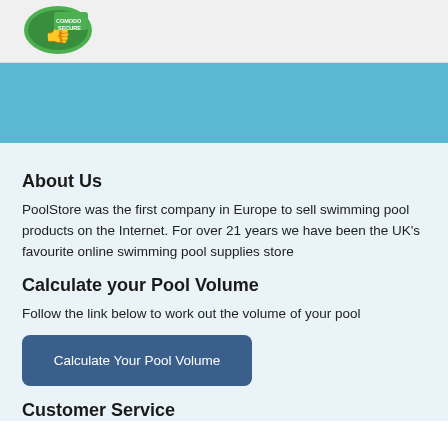[Figure (logo): Comodo Secure badge with thumbs up icon and green shield logo]
About Us
PoolStore was the first company in Europe to sell swimming pool products on the Internet. For over 21 years we have been the UK's favourite online swimming pool supplies store
Calculate your Pool Volume
Follow the link below to work out the volume of your pool
Calculate Your Pool Volume
Customer Service